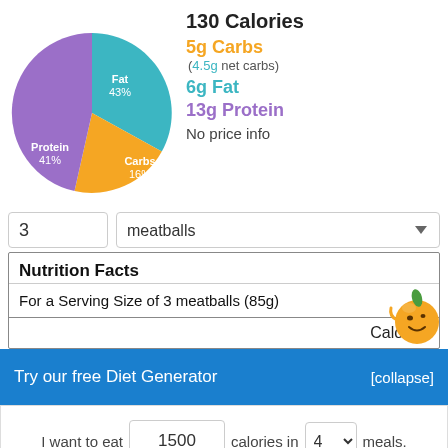[Figure (pie-chart): Macronutrient breakdown]
130 Calories
5g Carbs
(4.5g net carbs)
6g Fat
13g Protein
No price info
| Nutrition Facts |
| --- |
| For a Serving Size of 3 meatballs (85g) |
| Calories |
Try our free Diet Generator
[collapse]
I want to eat 1500 calories in 4 meals.
Generate